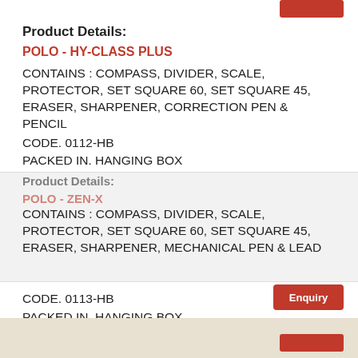Product Details:
POLO - HY-CLASS PLUS
CONTAINS : COMPASS, DIVIDER, SCALE, PROTECTOR, SET SQUARE 60, SET SQUARE 45, ERASER, SHARPENER, CORRECTION PEN & PENCIL
CODE. 0112-HB
PACKED IN. HANGING BOX
inner 10 Pcs.
Outer 200 Pcs.
Product Details:
POLO - ZEN-X
CONTAINS : COMPASS, DIVIDER, SCALE, PROTECTOR, SET SQUARE 60, SET SQUARE 45, ERASER, SHARPENER, MECHANICAL PEN & LEAD
CODE. 0113-HB
PACKED IN. HANGING BOX
inner 10 Pcs.
Outer 200 Pcs.